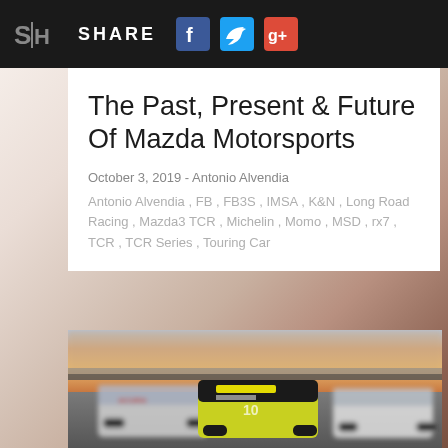SH  SHARE [Facebook] [Twitter] [Google+]
The Past, Present & Future Of Mazda Motorsports
October 3, 2019 - Antonio Alvendia
Antonio Alvendia , FB , FB3S , IMSA , K&N , Long Road Racing , Mazda3 TCR , Michelin , Momo , MSD , rx7 , TCR , TCR Series , Touring Car
[Figure (photo): Racing cars on track including an Acura, photographed at dusk or sunrise with warm orange and purple sky in background. Multiple race cars visible with yellow/green and white liveries.]